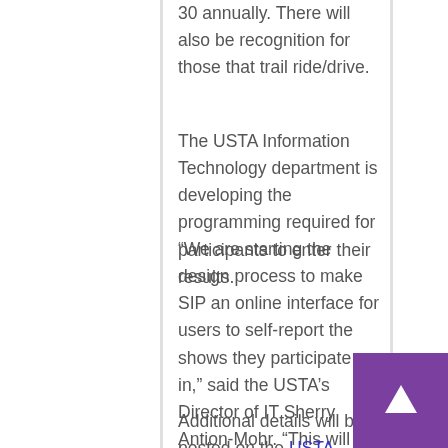30 annually. There will also be recognition for those that trail ride/drive.
The USTA Information Technology department is developing the programming required for participants to enter their results.
“We are starting the design process to make SIP an online interface for users to self-report the shows they participate in,” said the USTA’s Director of IT Sherry Antion-Mohr. “This will allow participants to submit results at their own pace, 24/7 and not have to worry about paperwork being lost in the mail. Administrators will then verify show results to make them official.”
Additional details will be posted on the USTA website as they become available.